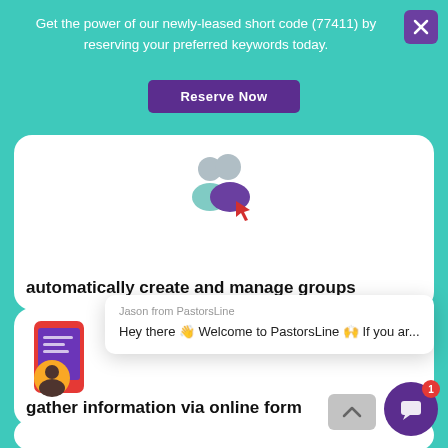Get the power of our newly-leased short code (77411) by reserving your preferred keywords today.
Reserve Now
[Figure (illustration): Two person icons (group/people) with a red cursor arrow, representing group management feature]
automatically create and manage groups
Jason from PastorsLine
Hey there 👋 Welcome to PastorsLine 🙌 If you ar...
[Figure (illustration): Mobile phone with a form/app interface and a person avatar, representing online form feature]
gather information via online form